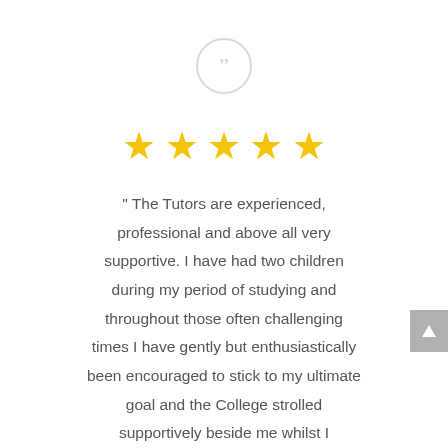[Figure (illustration): Quotation mark icon inside a light gray circle outline]
[Figure (infographic): Five golden/yellow star rating icons in a row]
" The Tutors are experienced, professional and above all very supportive. I have had two children during my period of studying and throughout those often challenging times I have gently but enthusiastically been encouraged to stick to my ultimate goal and the College strolled supportively beside me whilst I complete the journey.  I really can't wait until I finally qualify and embark fully on my new career and this is so much